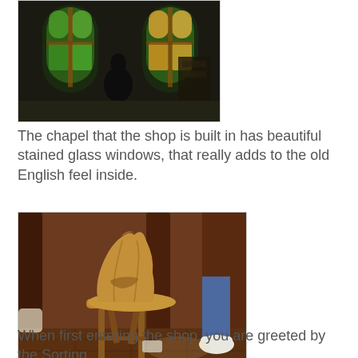[Figure (photo): Interior of a chapel-turned-shop showing stained glass windows glowing green and orange, with a dark silhouette of a person inside]
The chapel that the shop is built in has beautiful stained glass windows, that really adds to the old English feel inside.
[Figure (photo): A Sorting Hat replica prop sitting on a wooden stool inside the shop, with dark wood furniture and hardwood floors visible in the background]
When first entering the shop, you are greeted by the Sorting